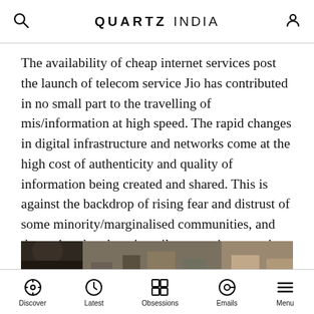QUARTZ INDIA
The availability of cheap internet services post the launch of telecom service Jio has contributed in no small part to the travelling of mis/information at high speed. The rapid changes in digital infrastructure and networks come at the high cost of authenticity and quality of information being created and shared. This is against the backdrop of rising fear and distrust of some minority/marginalised communities, and the notion that there is a silent sanction to action by common citizens when they see lawlessness and insecurity in states like Uttar Pradesh.
[Figure (photo): Photo showing people on the ground, appearing to show a crowd scene or physical altercation, with a watermark visible in the corner.]
Discover | Latest | Obsessions | Emails | Menu